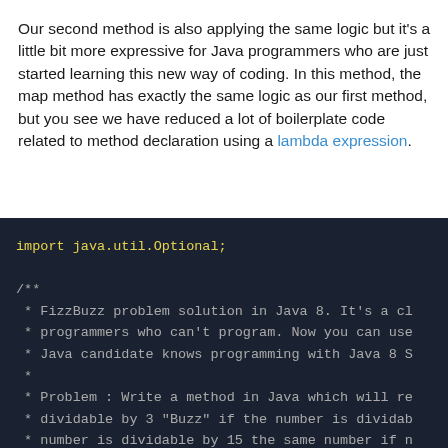Our second method is also applying the same logic but it's a little bit more expressive for Java programmers who are just started learning this new way of coding. In this method, the map method has exactly the same logic as our first method, but you see we have reduced a lot of boilerplate code related to method declaration using a lambda expression.
[Figure (screenshot): Dark-themed code editor screenshot showing Java code. First line imports java.util.Optional. Then a Javadoc comment block begins with /** describing the FizzBuzz problem solution in Java 8, mentioning programmers who can't program and Java candidate programming with Java 8. The Problem section describes writing a method in Java which will return 'Fizz' if dividable by 3, 'Buzz' if dividable, and specific behavior for divisibility by 15. The comment block ends with @author Javin Paul.]